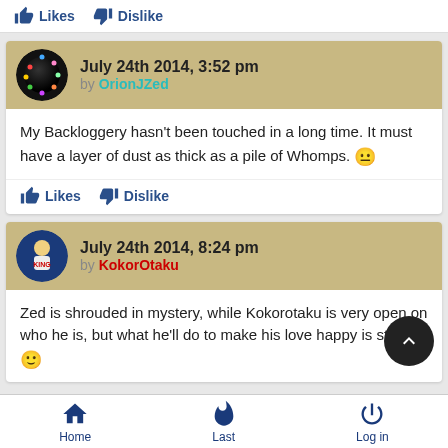Likes  Dislike
July 24th 2014, 3:52 pm by OrionJZed
My Backloggery hasn't been touched in a long time. It must have a layer of dust as thick as a pile of Whomps. 😐
Likes  Dislike
July 24th 2014, 8:24 pm by KokorOtaku
Zed is shrouded in mystery, while Kokorotaku is very open on who he is, but what he'll do to make his love happy is still a 🙂
Home  Last  Log in